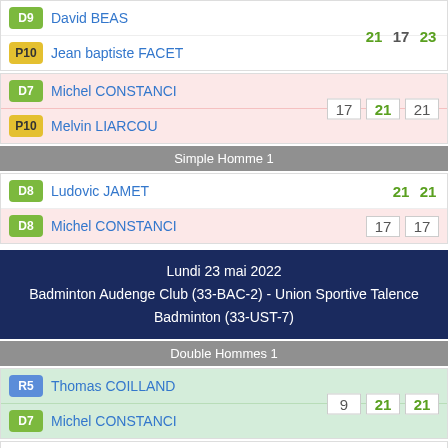| D9 | David BEAS | 21 | 17 | 23 |
| P10 | Jean baptiste FACET |  |  |  |
| D7 | Michel CONSTANCI | 17 | 21 | 21 |
| P10 | Melvin LIARCOU |  |  |  |
Simple Homme 1
| D8 | Ludovic JAMET | 21 | 21 |  |
| D8 | Michel CONSTANCI | 17 | 17 |  |
Lundi 23 mai 2022
Badminton Audenge Club (33-BAC-2) - Union Sportive Talence Badminton (33-UST-7)
Double Hommes 1
| R5 | Thomas COILLAND | 9 | 21 | 21 |
| D7 | Michel CONSTANCI |  |  |  |
| D9 | Nicolas ROSTAN | 21 | 15 | 14 |
| D8 | Jean-michel VOGNIN |  |  |  |